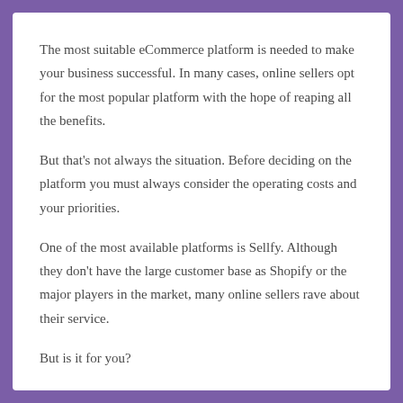The most suitable eCommerce platform is needed to make your business successful. In many cases, online sellers opt for the most popular platform with the hope of reaping all the benefits.
But that's not always the situation. Before deciding on the platform you must always consider the operating costs and your priorities.
One of the most available platforms is Sellfy. Although they don't have the large customer base as Shopify or the major players in the market, many online sellers rave about their service.
But is it for you?
This review will explore the services that Sellfy can offer its clients. To help you decide to go with them, we'll look at their limits and drawbacks.